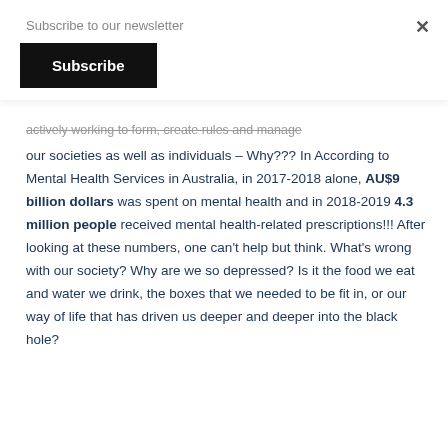Subscribe to our newsletter
Subscribe
×
actively working to form, create rules and manage our societies as well as individuals – Why??? In According to Mental Health Services in Australia, in 2017-2018 alone, AU$9 billion dollars was spent on mental health and in 2018-2019 4.3 million people received mental health-related prescriptions!!! After looking at these numbers, one can't help but think. What's wrong with our society? Why are we so depressed? Is it the food we eat and water we drink, the boxes that we needed to be fit in, or our way of life that has driven us deeper and deeper into the black hole?